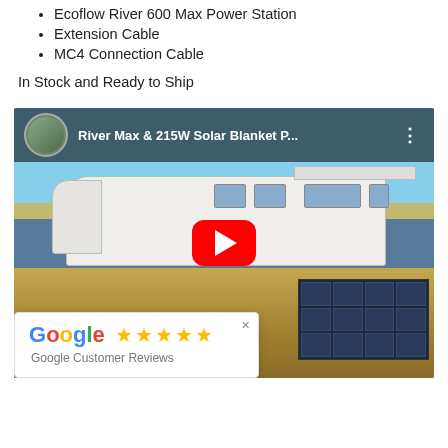Ecoflow River 600 Max Power Station
Extension Cable
MC4 Connection Cable
In Stock and Ready to Ship
[Figure (screenshot): YouTube video thumbnail showing a travel trailer RV parked in a flat open field with a solar blanket/panel laid on the ground in front. A person and dog are near the RV. Video title overlay reads 'River Max & 215W Solar Blanket P...' with a YouTube channel thumbnail and red play button. A Google Customer Reviews popup with 5 stars appears at the bottom left.]